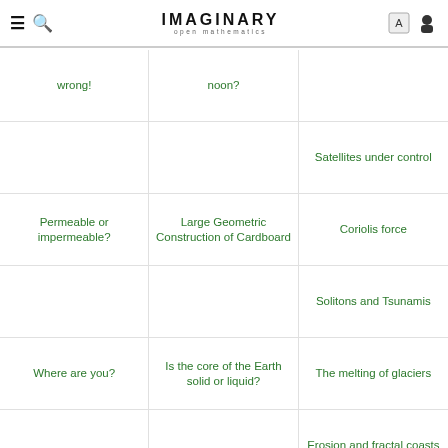IMAGINARY open mathematics
wrong!
noon?
Satellites under control
Permeable or impermeable?
Large Geometric Construction of Cardboard
Coriolis force
Solitons and Tsunamis
Where are you?
Is the core of the Earth solid or liquid?
The melting of glaciers
Erosion and fractal coasts
Slice IMAGINARY
Touch the brain
Double Pendulum